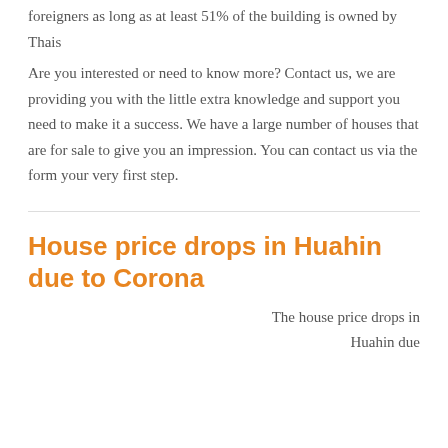foreigners as long as at least 51% of the building is owned by Thais
Are you interested or need to know more? Contact us, we are providing you with the little extra knowledge and support you need to make it a success. We have a large number of houses that are for sale to give you an impression. You can contact us via the form your very first step.
House price drops in Huahin due to Corona
The house price drops in Huahin due